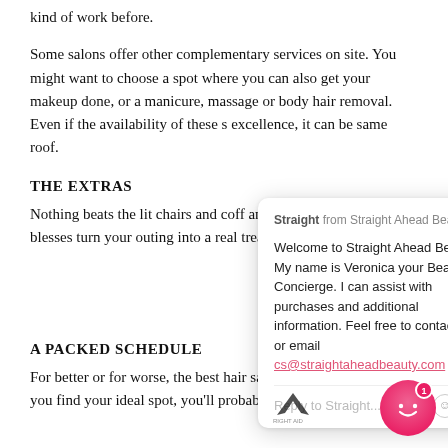kind of work before.
Some salons offer other complementary services on site. You might want to choose a spot where you can also get your makeup done, or a manicure, massage or body hair removal. Even if the availability of these s[ervices doesn't affect your decision of]excellence, it can be [convenient to have everything under the]same roof.
THE EXTRAS
Nothing beats the lit[tle extras...]chairs and coff[ee and a...]and hairstyle books. Those blesses turn your outing into a real treat that you can lo[ok forward to.]
[Figure (screenshot): Chat popup from Straight Ahead Beauty with welcome message from Veronica the Beauty Concierge, showing email cs@straightaheadbeauty.com and reply input field]
[Figure (logo): Small logo/watermark overlay on the page]
A PACKED SCHEDULE
For better or for worse, the best hair salons are often very[busy. But]once you find your ideal spot, you'll probably have to call well in
[Figure (other): Pink chat bubble widget with smiley face icon and badge showing '1' in bottom right corner]